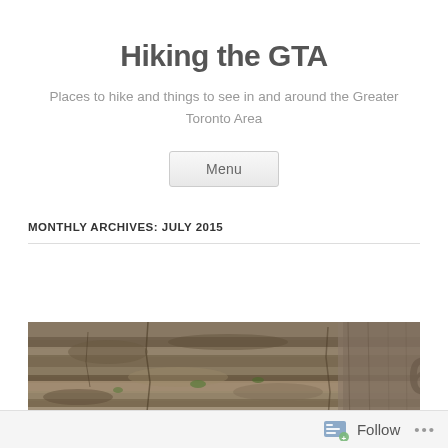Hiking the GTA
Places to hike and things to see in and around the Greater Toronto Area
Menu
MONTHLY ARCHIVES: JULY 2015
[Figure (photo): Photo of rocky limestone cliff face with layered sedimentary rock formations and some vegetation, partially obscured on the right by a wooden post or sign]
Follow ...